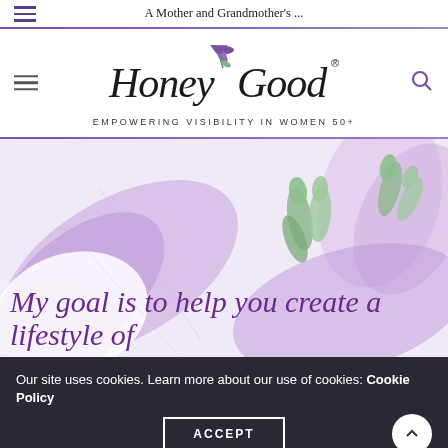A Mother and Grandmother's ...
[Figure (logo): Honey Good logo with stylized script text and purple flower, tagline: EMPOWERING VISIBILITY IN WOMEN 50+]
[Figure (illustration): Watercolor illustration of purple lily flowers with green accents on light background]
My goal is to help you create a lifestyle of
Our site uses cookies. Learn more about our use of cookies: Cookie Policy
ACCEPT